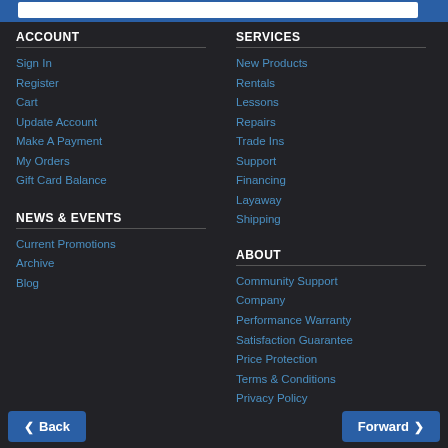ACCOUNT
Sign In
Register
Cart
Update Account
Make A Payment
My Orders
Gift Card Balance
NEWS & EVENTS
Current Promotions
Archive
Blog
SERVICES
New Products
Rentals
Lessons
Repairs
Trade Ins
Support
Financing
Layaway
Shipping
ABOUT
Community Support
Company
Performance Warranty
Satisfaction Guarantee
Price Protection
Terms & Conditions
Privacy Policy
Return Policy
Back | Forward